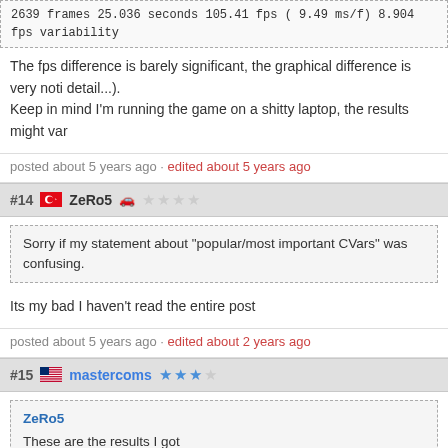2639 frames 25.036 seconds 105.41 fps ( 9.49 ms/f) 8.904 fps variability
The fps difference is barely significant, the graphical difference is very noti detail...).
Keep in mind I'm running the game on a shitty laptop, the results might var
posted about 5 years ago · edited about 5 years ago
#14  ZeRo5
Sorry if my statement about "popular/most important CVars" was confusing.
Its my bad I haven't read the entire post
posted about 5 years ago · edited about 2 years ago
#15  mastercoms
ZeRo5
These are the results I got
What are your specs? And I think it's more fair to use Comanglia's default, CVars I use in mine (unless you've disabled those for this test).
posted about 5 years ago